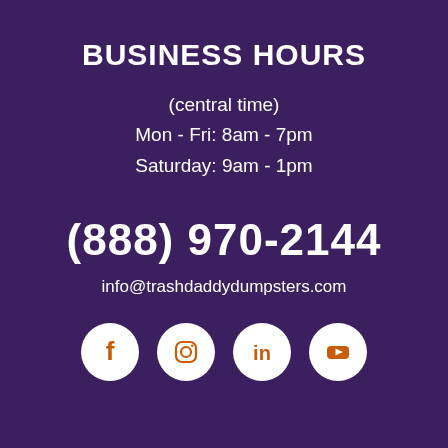BUSINESS HOURS
(central time)
Mon - Fri: 8am - 7pm
Saturday: 9am - 1pm
(888) 970-2144
info@trashdaddydumpsters.com
[Figure (infographic): Four social media icons (Facebook, Instagram, LinkedIn, YouTube) as white circles with orange logos]